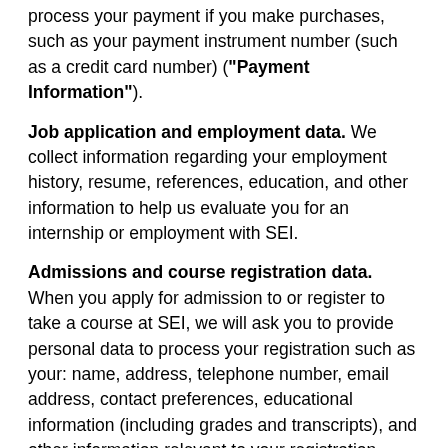process your payment if you make purchases, such as your payment instrument number (such as a credit card number) ("Payment Information").
Job application and employment data. We collect information regarding your employment history, resume, references, education, and other information to help us evaluate you for an internship or employment with SEI.
Admissions and course registration data. When you apply for admission to or register to take a course at SEI, we will ask you to provide personal data to process your registration such as your: name, address, telephone number, email address, contact preferences, educational information (including grades and transcripts), and other information relevant to your registration.
Conference, program, event and visitor registration data. When you apply and/or register to participate in a program, become a visitor and/or attend an event, we will